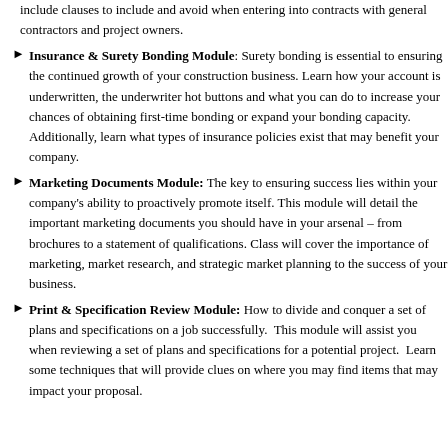include clauses to include and avoid when entering into contracts with general contractors and project owners.
Insurance & Surety Bonding Module: Surety bonding is essential to ensuring the continued growth of your construction business. Learn how your account is underwritten, the underwriter hot buttons and what you can do to increase your chances of obtaining first-time bonding or expand your bonding capacity. Additionally, learn what types of insurance policies exist that may benefit your company.
Marketing Documents Module: The key to ensuring success lies within your company's ability to proactively promote itself. This module will detail the important marketing documents you should have in your arsenal – from brochures to a statement of qualifications. Class will cover the importance of marketing, market research, and strategic market planning to the success of your business.
Print & Specification Review Module: How to divide and conquer a set of plans and specifications on a job successfully. This module will assist you when reviewing a set of plans and specifications for a potential project. Learn some techniques that will provide clues on where you may find items that may impact your proposal.